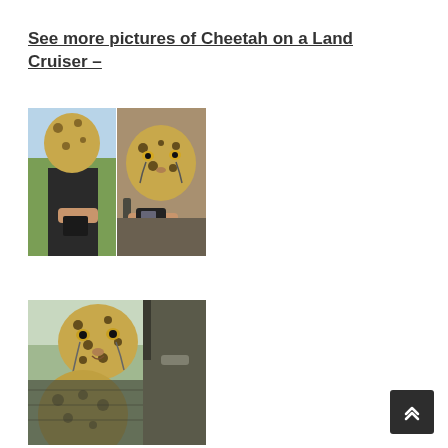See more pictures of Cheetah on a Land Cruiser –
[Figure (photo): Two-panel photo collage showing a cheetah on a Land Cruiser vehicle; left panel shows a cheetah near the vehicle window with savanna background, right panel shows a close-up of a cheetah face looking into the vehicle with a person photographing it]
[Figure (photo): Photo showing a cheetah leaning into the open door of a Land Cruiser, face close to a person inside the vehicle, vehicle door handle visible]